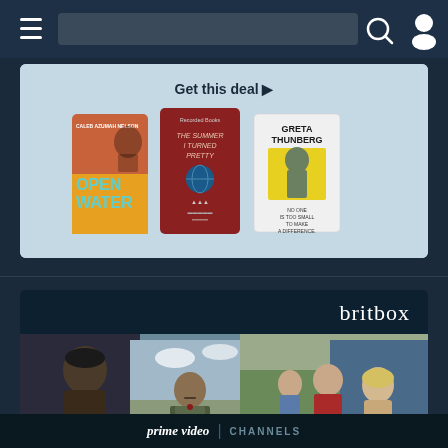[Figure (screenshot): Navigation bar with hamburger menu, search box, search icon, and user profile icon on dark navy background]
[Figure (screenshot): Book deals promotional banner with light blue background showing 'Get this deal ▶' and three book covers: 'Open Water' by Caleb Azumah Nelson, 'The Summer I Turned Pretty' audiobook, and 'Greta Thunberg: No One Is Too Small to Make a Difference']
[Figure (screenshot): Britbox channel promotional section with dark background showing britbox logo and a collage of British TV show characters]
prime video | CHANNELS